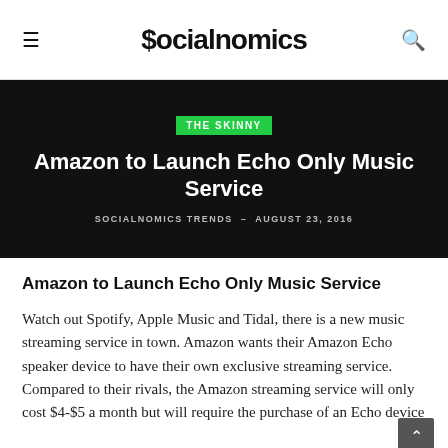Socialnomics
[Figure (other): Dark hero banner with green THE SKINNY badge, white bold title 'Amazon to Launch Echo Only Music Service', and byline 'SOCIALNOMICS TRENDS – AUGUST 23, 2016']
Amazon to Launch Echo Only Music Service
Watch out Spotify, Apple Music and Tidal, there is a new music streaming service in town. Amazon wants their Amazon Echo speaker device to have their own exclusive streaming service. Compared to their rivals, the Amazon streaming service will only cost $4-$5 a month but will require the purchase of an Echo device